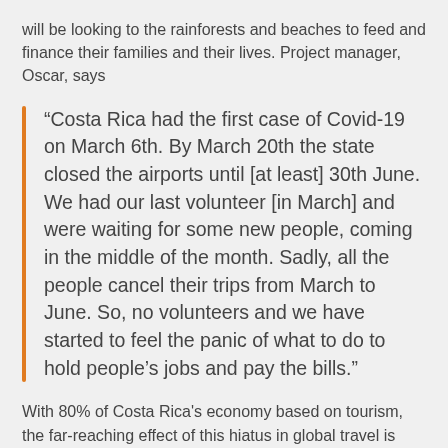will be looking to the rainforests and beaches to feed and finance their families and their lives. Project manager, Oscar, says
“Costa Rica had the first case of Covid-19 on March 6th. By March 20th the state closed the airports until [at least] 30th June. We had our last volunteer [in March] and were waiting for some new people, coming in the middle of the month. Sadly, all the people cancel their trips from March to June. So, no volunteers and we have started to feel the panic of what to do to hold people’s jobs and pay the bills.”
With 80% of Costa Rica's economy based on tourism, the far-reaching effect of this hiatus in global travel is only just beginning. The impact on projects that are used to having to